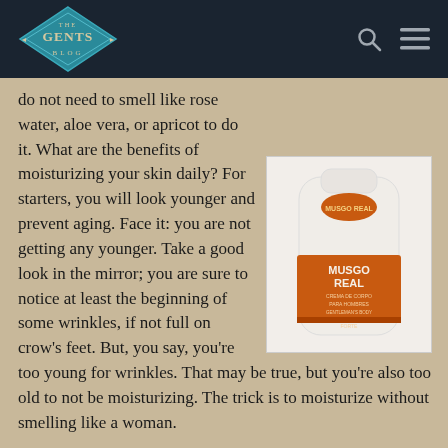THE GENTS BLOG
do not need to smell like rose water, aloe vera, or apricot to do it. What are the benefits of moisturizing your skin daily? For starters, you will look younger and prevent aging. Face it: you are not getting any younger. Take a good look in the mirror; you are sure to notice at least the beginning of some wrinkles, if not full on crow's feet. But, you say, you're too young for wrinkles. That may be true, but you're also too old to not be moisturizing. The trick is to moisturize without smelling like a woman.
[Figure (photo): Musgo Real body cream bottle for men — a white bottle with orange label reading MUSGO REAL, CREMA DE CORPO PARA HOMBRES, GENTLEMAN'S BODY, CLIMA FORTE]
Fortunately, there are several great creams and lotions on the market that are designed for men. No floral scents that will make you smell like a spring garden. These are masculine, manly